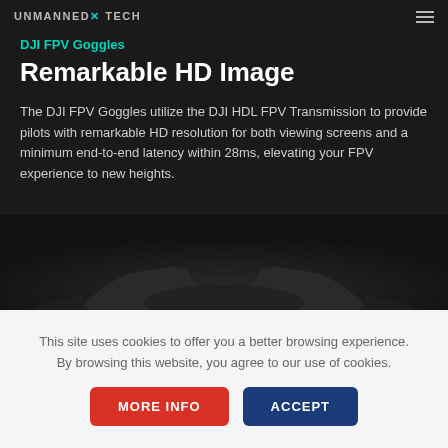UNMANNED TECH
DJI FPV Goggles
Remarkable HD Image
The DJI FPV Goggles utilize the DJI HDL FPV Transmission to provide pilots with remarkable HD resolution for both viewing screens and a minimum end-to-end latency within 28ms, elevating your FPV experience to new heights.
[Figure (photo): DJI FPV Goggles product silhouette/photo on dark background]
This site uses cookies to offer you a better browsing experience. By browsing this website, you agree to our use of cookies.
MORE INFO
ACCEPT